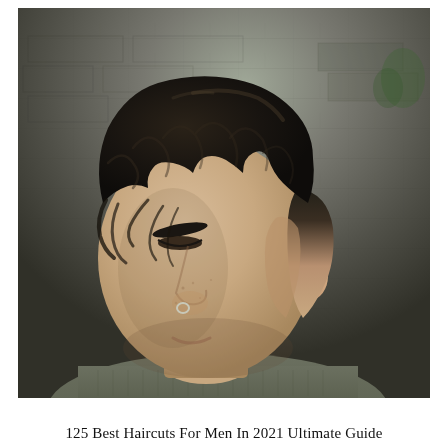[Figure (photo): Close-up photograph of a young man with dark, wavy/curly hair styled on top with a high skin fade on the sides. He is looking downward, has a nose ring and a small stud earring. He is wearing a grey t-shirt. The background is a stone/brick wall.]
125 Best Haircuts For Men In 2021 Ultimate Guide